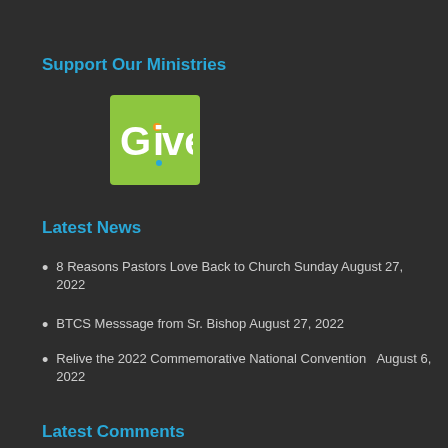Support Our Ministries
[Figure (logo): Green square logo with white text reading 'Give' with colorful dot accents]
Latest News
8 Reasons Pastors Love Back to Church Sunday August 27, 2022
BTCS Messsage from Sr. Bishop August 27, 2022
Relive the 2022 Commemorative National Convention  August 6, 2022
Latest Comments